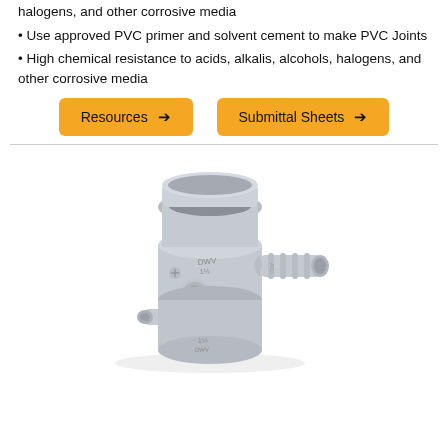halogens, and other corrosive media
Use approved PVC primer and solvent cement to make PVC Joints
High chemical resistance to acids, alkalis, alcohols, halogens, and other corrosive media
[Figure (other): Two orange buttons labeled 'Resources →' and 'Submittal Sheets →']
[Figure (photo): Gray PVC DWV pipe fitting — a trap adapter or similar component with a large socket on top, a small barbed side outlet, a cleanout plug, and labeling molded into the plastic. The fitting is gray plastic and shown on a white background.]